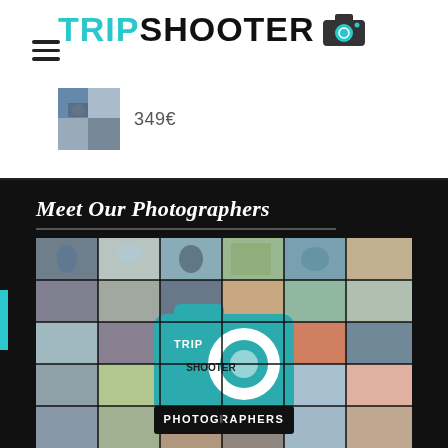TRIPSHOOTER
349€
Meet Our Photographers
[Figure (photo): Tripshooter photographers collage grid with camera logo overlay and 'PHOTOGRAPHERS' label at the bottom]